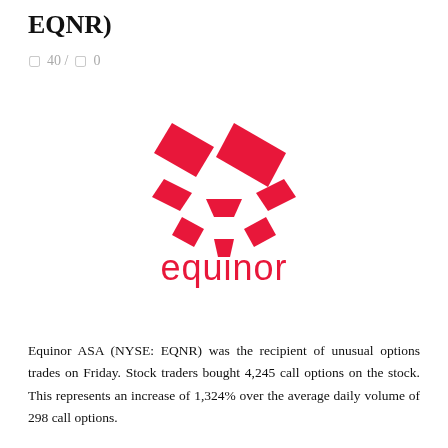EQNR)
🖼 40 / 🖼 0
[Figure (logo): Equinor logo: red geometric butterfly/star shape above the red lowercase wordmark 'equinor']
Equinor ASA (NYSE: EQNR) was the recipient of unusual options trades on Friday. Stock traders bought 4,245 call options on the stock. This represents an increase of 1,324% over the average daily volume of 298 call options.